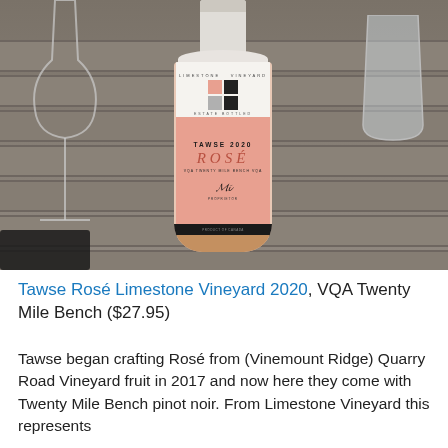[Figure (photo): A bottle of Tawse 2020 Rosé Limestone Vineyard wine with a pink label on a wooden table, with a wine glass on the left and a water glass on the right.]
Tawse Rosé Limestone Vineyard 2020, VQA Twenty Mile Bench ($27.95)
Tawse began crafting Rosé from (Vinemount Ridge) Quarry Road Vineyard fruit in 2017 and now here they come with Twenty Mile Bench pinot noir. From Limestone Vineyard this represents...